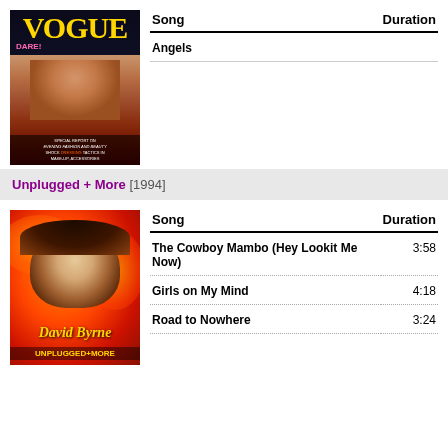[Figure (illustration): Vogue magazine cover with model and yellow VOGUE title]
| Song | Duration |
| --- | --- |
| Angels |  |
Unplugged + More [1994]
[Figure (illustration): David Byrne Unplugged+More album cover with orange/red background]
| Song | Duration |
| --- | --- |
| The Cowboy Mambo (Hey Lookit Me Now) | 3:58 |
| Girls on My Mind | 4:18 |
| Road to Nowhere | 3:24 |